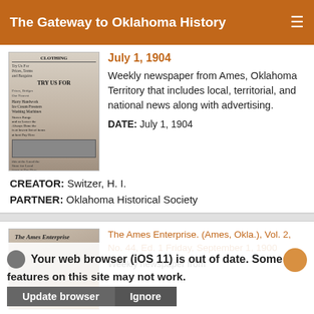The Gateway to Oklahoma History
[Figure (photo): Thumbnail of an old newspaper front page]
July 1, 1904
Weekly newspaper from Ames, Oklahoma Territory that includes local, territorial, and national news along with advertising.
DATE: July 1, 1904
CREATOR: Switzer, H. I.
PARTNER: Oklahoma Historical Society
[Figure (photo): Thumbnail of The Ames Enterprise newspaper]
The Ames Enterprise. (Ames, Okla.), Vol. 2, No. 44, Ed. 1 Friday, September 1, 1900
Weekly newspaper from
Your web browser (iOS 11) is out of date. Some features on this site may not work.